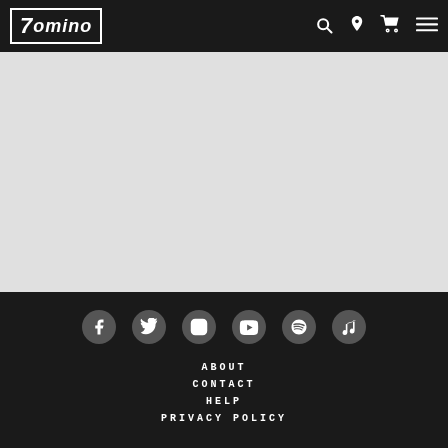Domino — navigation header with logo, search, location, cart, and menu icons
[Figure (screenshot): Grey empty content area below navigation header]
Social icons: Facebook, Twitter, Instagram, YouTube, Spotify, Apple Music. Links: ABOUT, CONTACT, HELP, PRIVACY POLICY